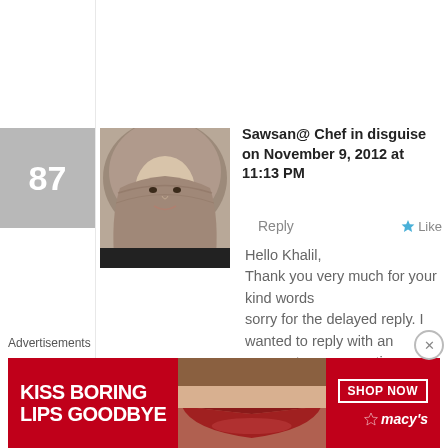[Figure (screenshot): Hamburger menu icon (three horizontal lines) in top left corner]
87
[Figure (photo): Profile photo of a woman wearing a hijab with a floral/patterned scarf]
Sawsan@ Chef in disguise on November 9, 2012 at 11:13 PM
Reply
Like
Hello Khalil,
Thank you very much for your kind words
sorry for the delayed reply. I wanted to reply with an answer to your question so I made Labneh out of a kg of yogurt and got 380 grams of labneh
The amount of course depends on many factors as you mentioned. This yield came from 3 hours of
Advertisements
[Figure (photo): Macy's advertisement banner: red background with KISS BORING LIPS GOODBYE text, image of lips, SHOP NOW button and Macy's star logo]